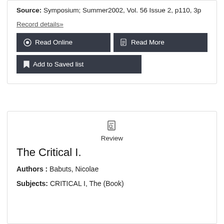Contemporary French Poetry (Book); THOMAS, Jean Jacques; WINSPUR, Steven
Source: Symposium; Summer2002, Vol. 56 Issue 2, p110, 3p
Record details»
Read Online
Read More
Add to Saved list
Review
The Critical I.
Authors : Babuts, Nicolae
Subjects: CRITICAL I, The (Book)